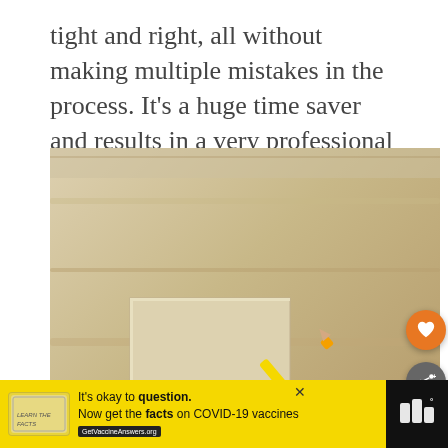tight and right, all without making multiple mistakes in the process. It's a huge time saver and results in a very professional fit.
[Figure (photo): A hand holding an orange and black scribing tool with a yellow pencil attached, marking against light-colored wood paneling or baseboard molding. A 'What's Next' overlay in the bottom-right corner shows a thumbnail and text reading 'High-End Profile Scrib...' in orange.]
It's okay to question. Now get the facts on COVID-19 vaccines GetVaccineAnswers.org